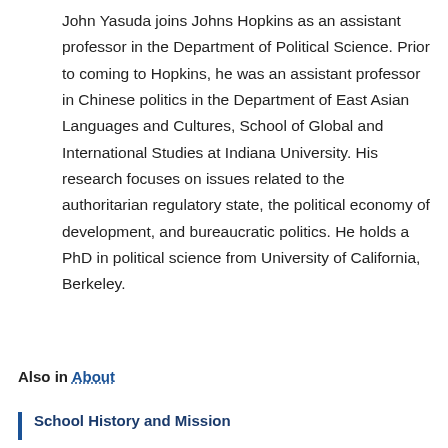John Yasuda joins Johns Hopkins as an assistant professor in the Department of Political Science. Prior to coming to Hopkins, he was an assistant professor in Chinese politics in the Department of East Asian Languages and Cultures, School of Global and International Studies at Indiana University. His research focuses on issues related to the authoritarian regulatory state, the political economy of development, and bureaucratic politics. He holds a PhD in political science from University of California, Berkeley.
Also in About
School History and Mission